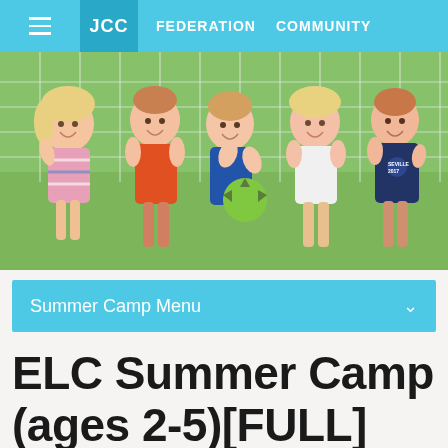JCC  FEDERATION  COMMUNITY
[Figure (photo): Five young children standing in front of a soccer goal net on a grass field, smiling. One child is holding a green soccer ball.]
Summer Camp Menu
ELC Summer Camp (ages 2-5)[FULL]